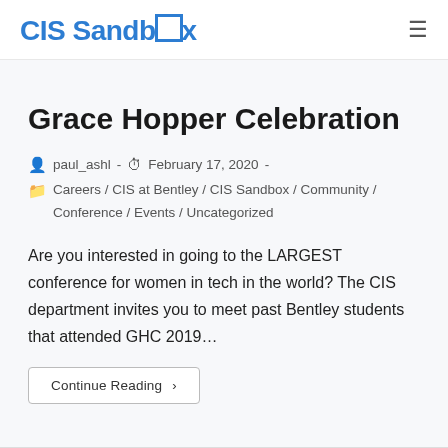CIS Sandbox
Grace Hopper Celebration
paul_ashl - February 17, 2020 - Careers / CIS at Bentley / CIS Sandbox / Community / Conference / Events / Uncategorized
Are you interested in going to the LARGEST conference for women in tech in the world? The CIS department invites you to meet past Bentley students that attended GHC 2019…
Continue Reading ›